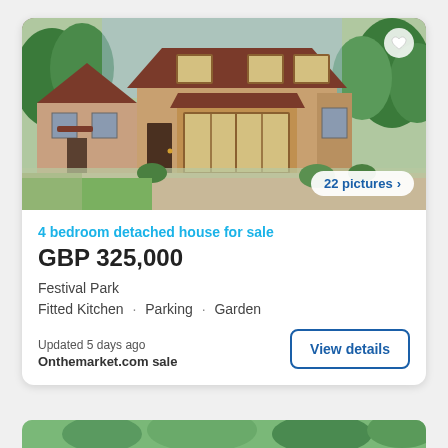[Figure (photo): Exterior photo of a 4 bedroom detached brick house with brown roof, wooden-framed bay window, porch, gravel driveway and green trees in background. Shows '22 pictures >' badge and heart icon.]
4 bedroom detached house for sale
GBP 325,000
Festival Park
Fitted Kitchen · Parking · Garden
Updated 5 days ago
Onthemarket.com sale
View details
[Figure (photo): Partial view of a second property listing card with green garden/trees visible at bottom of page.]